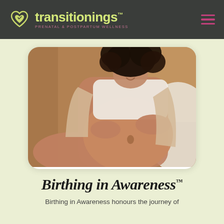transitionings™ PRENATAL & POSTPARTUM WELLNESS
[Figure (photo): Pregnant woman sitting comfortably, smiling, holding her bare belly with both hands. She is wearing a white crop top and a beige cardigan. Background shows a wooden interior.]
Birthing in Awareness™
Birthing in Awareness honours the journey of